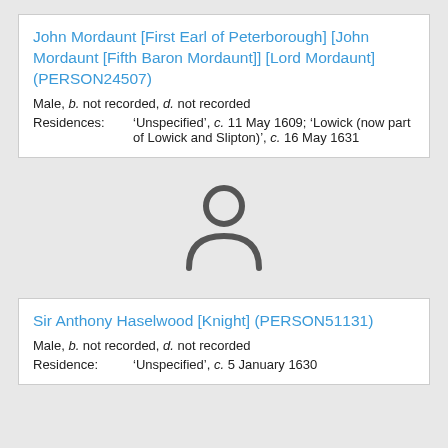John Mordaunt [First Earl of Peterborough] [John Mordaunt [Fifth Baron Mordaunt]] [Lord Mordaunt] (PERSON24507)
Male, b. not recorded, d. not recorded
Residences: 'Unspecified', c. 11 May 1609; 'Lowick (now part of Lowick and Slipton)', c. 16 May 1631
[Figure (illustration): Generic person silhouette icon (head and shoulders outline in dark gray)]
Sir Anthony Haselwood [Knight] (PERSON51131)
Male, b. not recorded, d. not recorded
Residence: 'Unspecified', c. 5 January 1630